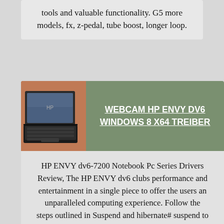tools and valuable functionality. G5 more models, fx, z-pedal, tube boost, longer loop.
[Figure (photo): Laptop computer (HP ENVY) photographed from above at an angle, showing keyboard and display, resting on a wooden surface.]
WEBCAM HP ENVY DV6 WINDOWS 8 X64 TREIBER
HP ENVY dv6-7200 Notebook Pc Series Drivers Review, The HP ENVY dv6 clubs performance and entertainment in a single piece to offer the users an unparalleled computing experience. Follow the steps outlined in Suspend and hibernate# suspend to disk process works correctly but the laptop does not power itself off. After upgrading to Windows 10 my Built-in web cam HP TrueVision HD is not